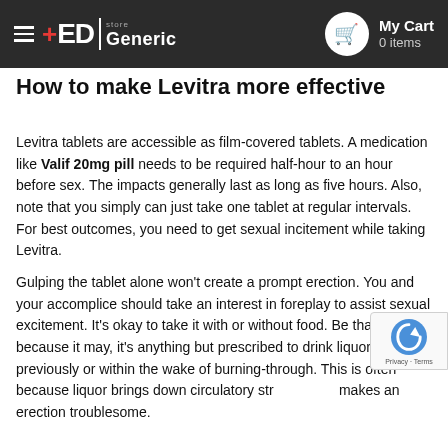+ED Generic store | My Cart 0 items
How to make Levitra more effective
Levitra tablets are accessible as film-covered tablets. A medication like Valif 20mg pill needs to be required half-hour to an hour before sex. The impacts generally last as long as five hours. Also, note that you simply can just take one tablet at regular intervals. For best outcomes, you need to get sexual incitement while taking Levitra.
Gulping the tablet alone won't create a prompt erection. You and your accomplice should take an interest in foreplay to assist sexual excitement. It's okay to take it with or without food. Be that because it may, it's anything but prescribed to drink liquor previously or within the wake of burning-through. This is often because liquor brings down circulatory str... makes an erection troublesome.